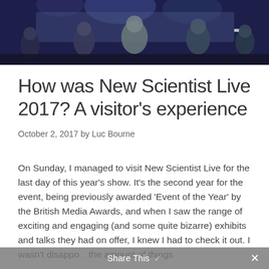[Figure (photo): Dark photo of a crowd of people at an event, silhouetted against a blue-tinted background with stage lighting]
How was New Scientist Live 2017? A visitor's experience
October 2, 2017 by Luc Bourne
On Sunday, I managed to visit New Scientist Live for the last day of this year's show. It's the second year for the event, being previously awarded 'Event of the Year' by the British Media Awards, and when I saw the range of exciting and engaging (and some quite bizarre) exhibits and talks they had on offer, I knew I had to check it out. I wasn't disappointed the amount of things
Share This ✓ ✕